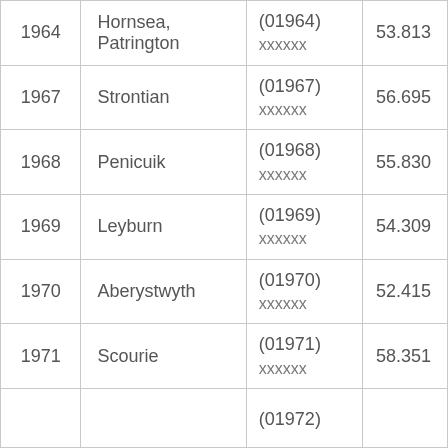| 1964 | Hornsea, Patrington | (01964) xxxxxx | 53.813 |
| 1967 | Strontian | (01967) xxxxxx | 56.695 |
| 1968 | Penicuik | (01968) xxxxxx | 55.830 |
| 1969 | Leyburn | (01969) xxxxxx | 54.309 |
| 1970 | Aberystwyth | (01970) xxxxxx | 52.415 |
| 1971 | Scourie | (01971) xxxxxx | 58.351 |
|  |  | (01972) |  |